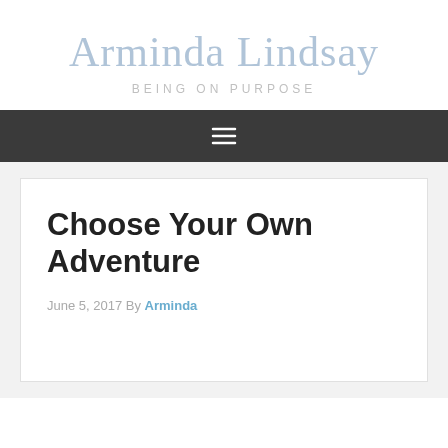Arminda Lindsay
BEING ON PURPOSE
[Figure (other): Navigation bar with hamburger menu icon (three horizontal lines) on dark background]
Choose Your Own Adventure
June 5, 2017 By Arminda